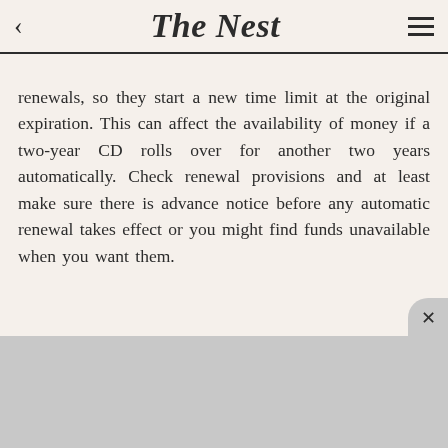The Nest
renewals, so they start a new time limit at the original expiration. This can affect the availability of money if a two-year CD rolls over for another two years automatically. Check renewal provisions and at least make sure there is advance notice before any automatic renewal takes effect or you might find funds unavailable when you want them.